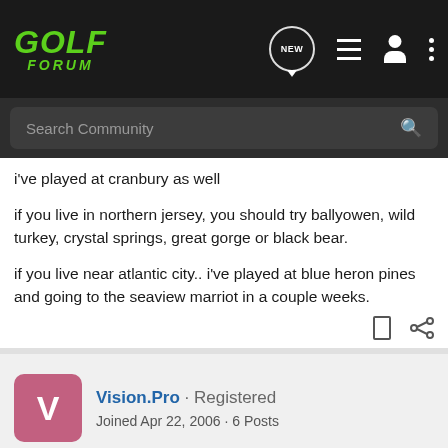[Figure (screenshot): Golf Forum website navigation bar with logo, new post icon, list icon, user icon, and more menu icon]
Search Community
i've played at cranbury as well
if you live in northern jersey, you should try ballyowen, wild turkey, crystal springs, great gorge or black bear.
if you live near atlantic city.. i've played at blue heron pines and going to the seaview marriot in a couple weeks.
Vision.Pro · Registered
Joined Apr 22, 2006 · 6 Posts